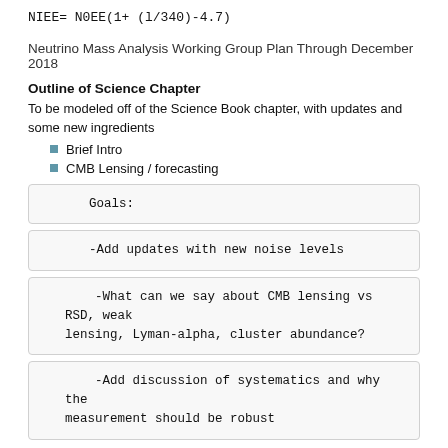Neutrino Mass Analysis Working Group Plan Through December 2018
Outline of Science Chapter
To be modeled off of the Science Book chapter, with updates and some new ingredients
Brief Intro
CMB Lensing / forecasting
Goals:
-Add updates with new noise levels
-What can we say about CMB lensing vs RSD, weak lensing, Lyman-alpha, cluster abundance?
-Add discussion of systematics and why the measurement should be robust